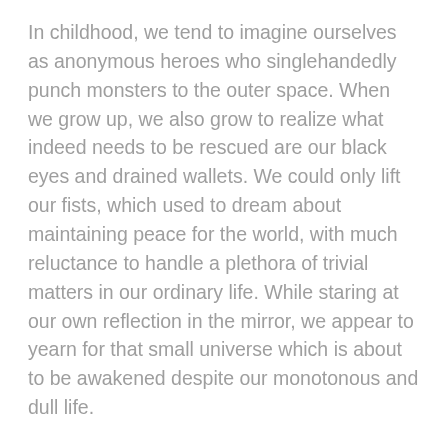In childhood, we tend to imagine ourselves as anonymous heroes who singlehandedly punch monsters to the outer space. When we grow up, we also grow to realize what indeed needs to be rescued are our black eyes and drained wallets. We could only lift our fists, which used to dream about maintaining peace for the world, with much reluctance to handle a plethora of trivial matters in our ordinary life. While staring at our own reflection in the mirror, we appear to yearn for that small universe which is about to be awakened despite our monotonous and dull life.
The superhero notebook is born as a response to everyone's calling for the bright side inside of themselves. With beige dowling papers which are easy to write as the inner pages and bound with thread stitching, the notebook allows for a 180 degree smooth and effortless rotation. You can also flip the notebook pages instantaneously and record big and small things on the pages. Although a handy mask attached to the